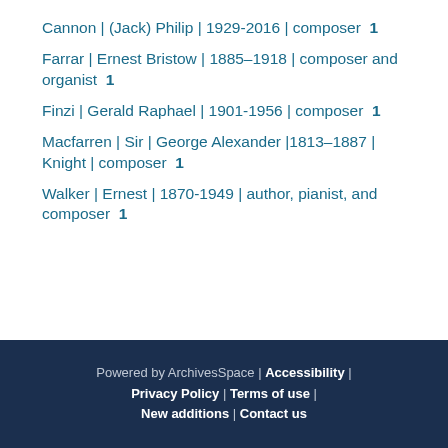Cannon | (Jack) Philip | 1929-2016 | composer  1
Farrar | Ernest Bristow | 1885–1918 | composer and organist  1
Finzi | Gerald Raphael | 1901-1956 | composer  1
Macfarren | Sir | George Alexander |1813–1887 | Knight | composer  1
Walker | Ernest | 1870-1949 | author, pianist, and composer  1
Powered by ArchivesSpace | Accessibility | Privacy Policy | Terms of use | New additions | Contact us